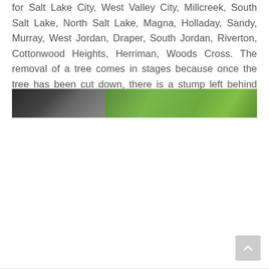for Salt Lake City, West Valley City, Millcreek, South Salt Lake, North Salt Lake, Magna, Holladay, Sandy, Murray, West Jordan, Draper, South Jordan, Riverton, Cottonwood Heights, Herriman, Woods Cross. The removal of a tree comes in stages because once the tree has been cut down, there is a stump left behind that is not ideal if left in place.
[Figure (photo): A wide banner photo showing a dark object or animal on the left side against a blurred background, with a green grassy field visible on the right portion of the image.]